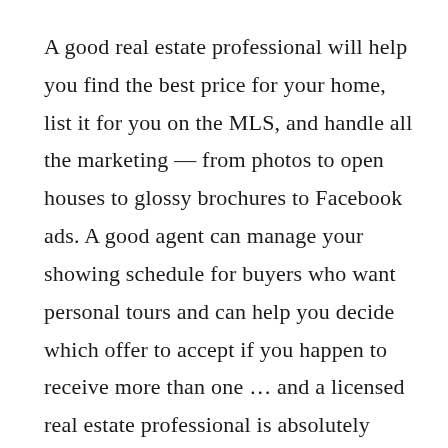A good real estate professional will help you find the best price for your home, list it for you on the MLS, and handle all the marketing — from photos to open houses to glossy brochures to Facebook ads. A good agent can manage your showing schedule for buyers who want personal tours and can help you decide which offer to accept if you happen to receive more than one … and a licensed real estate professional is absolutely essential during the negotiation process, especially if the buyer is making demands that the seller isn't prepared to address.